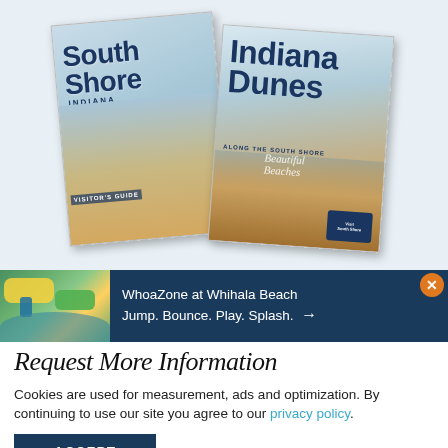[Figure (photo): Two tourism guide covers: 'South Shore Indiana Visitor's Guide' and 'Indiana Dunes Along the South Shore', shown overlapping on a light blue background]
[Figure (photo): WhoaZone inflatable water park at Whihala Beach with colorful inflatables]
WhoaZone at Whihala Beach Jump. Bounce. Play. Splash. →
Request More Information
Cookies are used for measurement, ads and optimization. By continuing to use our site you agree to our privacy policy.
ACCEPT